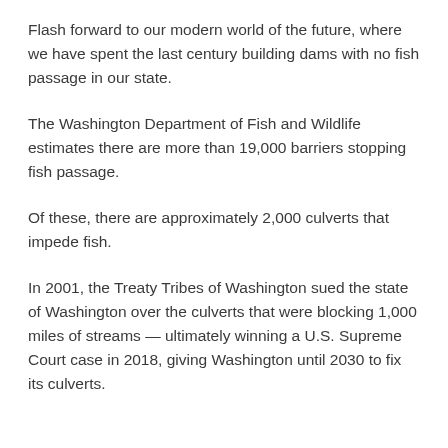Flash forward to our modern world of the future, where we have spent the last century building dams with no fish passage in our state.
The Washington Department of Fish and Wildlife estimates there are more than 19,000 barriers stopping fish passage.
Of these, there are approximately 2,000 culverts that impede fish.
In 2001, the Treaty Tribes of Washington sued the state of Washington over the culverts that were blocking 1,000 miles of streams — ultimately winning a U.S. Supreme Court case in 2018, giving Washington until 2030 to fix its culverts.